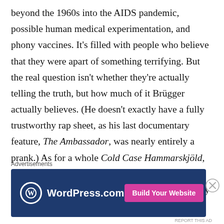beyond the 1960s into the AIDS pandemic, possible human medical experimentation, and phony vaccines. It's filled with people who believe that they were apart of something terrifying. But the real question isn't whether they're actually telling the truth, but how much of it Brügger actually believes. (He doesn't exactly have a fully trustworthy rap sheet, as his last documentary feature, The Ambassador, was nearly entirely a prank.) As for a whole Cold Case Hammarskjöld, largely struggles with its structure, some might even call it formless, and Brügger, at times, clearly puts amusing
Advertisements
[Figure (other): WordPress.com advertisement banner with logo and 'Build Your Website' button]